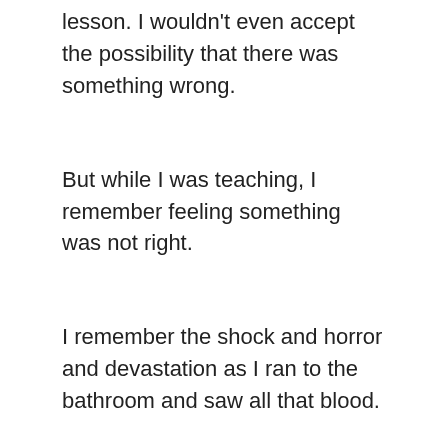lesson. I wouldn't even accept the possibility that there was something wrong.
But while I was teaching, I remember feeling something was not right.
I remember the shock and horror and devastation as I ran to the bathroom and saw all that blood.
I remember shaking and crying and falling into a hole inside myself while a friend drove me home. Days